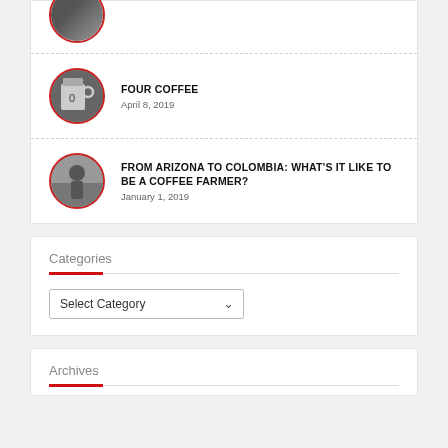[Figure (photo): Circular avatar with red border showing coffee product image (partial, cropped at top)]
FOUR COFFEE
April 8, 2019
FROM ARIZONA TO COLOMBIA: WHAT'S IT LIKE TO BE A COFFEE FARMER?
January 1, 2019
Categories
Select Category
Archives